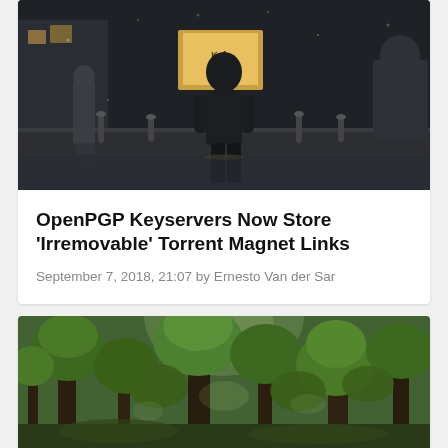[Figure (photo): Dark nighttime street scene with a person in a hoodie walking toward the camera, other pedestrians visible, urban alley with illuminated shop in background, snowy or foggy atmosphere]
OpenPGP Keyservers Now Store ‘Irremovable’ Torrent Magnet Links
September 7, 2018, 21:07 by Ernesto Van der Sar
[Figure (photo): Lush green forest scene with tall trees, dense foliage, sunlight filtering through leaves, natural woodland setting]